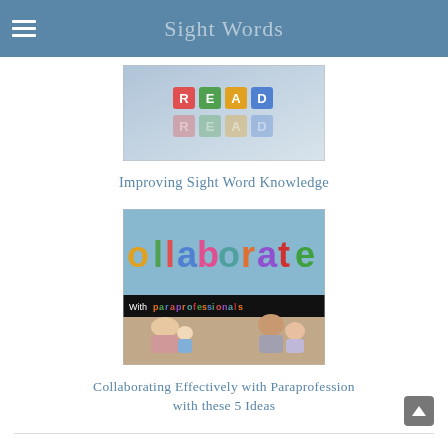Sight Words
[Figure (photo): Colorful alphabet block letters spelling READ on a light blue/grey background, sight words themed educational image]
Improving Sight Word Knowledge
[Figure (photo): Composite image: top half shows colorful letters spelling 'collaborate' held up by children; black banner reads 'With paraprofessionals'; bottom half shows classroom scene with teacher and young students working together]
Collaborating Effectively with Paraprofession with these 5 Ideas